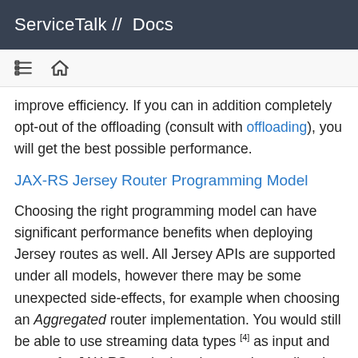ServiceTalk //  Docs
improve efficiency. If you can in addition completely opt-out of the offloading (consult with offloading), you will get the best possible performance.
JAX-RS Jersey Router Programming Model
Choosing the right programming model can have significant performance benefits when deploying Jersey routes as well. All Jersey APIs are supported under all models, however there may be some unexpected side-effects, for example when choosing an Aggregated router implementation. You would still be able to use streaming data types [4] as input and output for JAX-RS endpoints, but need to realize that